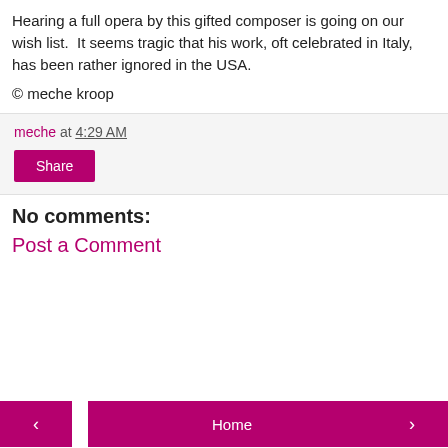Hearing a full opera by this gifted composer is going on our wish list.  It seems tragic that his work, oft celebrated in Italy, has been rather ignored in the USA.
© meche kroop
meche at 4:29 AM
Share
No comments:
Post a Comment
< Home >